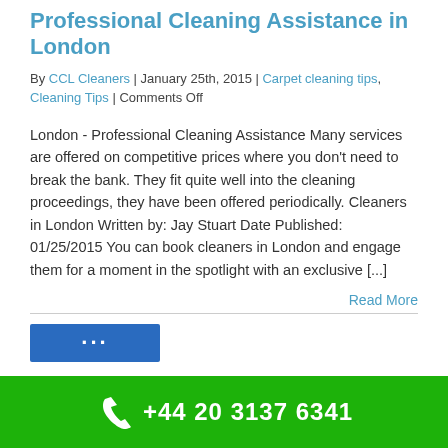Professional Cleaning Assistance in London
By CCL Cleaners | January 25th, 2015 | Carpet cleaning tips, Cleaning Tips | Comments Off
London - Professional Cleaning Assistance Many services are offered on competitive prices where you don't need to break the bank. They fit quite well into the cleaning proceedings, they have been offered periodically. Cleaners in London Written by: Jay Stuart Date Published: 01/25/2015 You can book cleaners in London and engage them for a moment in the spotlight with an exclusive [...]
Read More
[Figure (other): Blue bar with social media icons partially visible]
+44 20 3137 6341